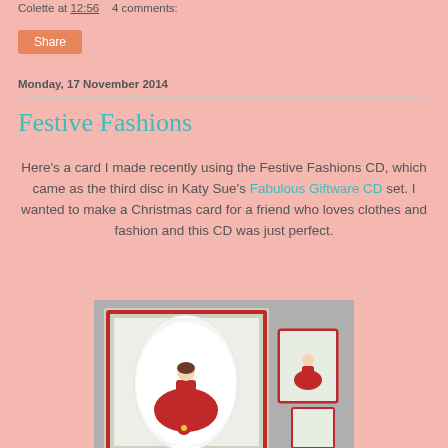Colette at 12:56   4 comments:
Share
Monday, 17 November 2014
Festive Fashions
Here's a card I made recently using the Festive Fashions CD, which came as the third disc in Katy Sue's Fabulous Giftware CD set. I wanted to make a Christmas card for a friend who loves clothes and fashion and this CD was just perfect.
[Figure (photo): A handmade Christmas card featuring a lady in a red ballgown dress with festive decorations, shown alongside smaller matching cards, displayed on a grey background.]